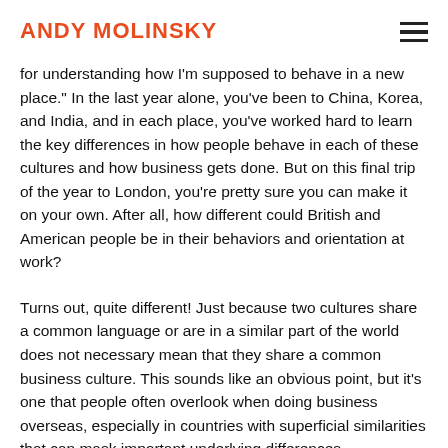ANDY MOLINSKY
for understanding how I'm supposed to behave in a new place." In the last year alone, you've been to China, Korea, and India, and in each place, you've worked hard to learn the key differences in how people behave in each of these cultures and how business gets done. But on this final trip of the year to London, you're pretty sure you can make it on your own. After all, how different could British and American people be in their behaviors and orientation at work?
Turns out, quite different! Just because two cultures share a common language or are in a similar part of the world does not necessary mean that they share a common business culture. This sounds like an obvious point, but it's one that people often overlook when doing business overseas, especially in countries with superficial similarities that can mask important underlying differences.
Assumptions like these can lead to awkward...